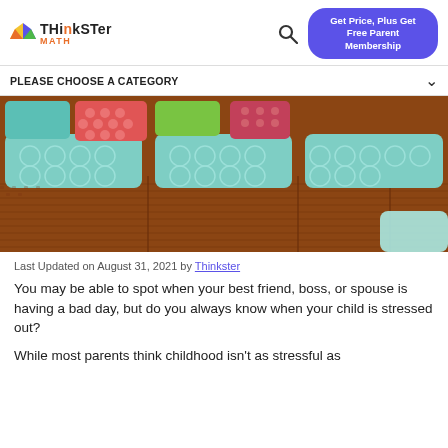Thinkster Math — Get Price, Plus Get Free Parent Membership
PLEASE CHOOSE A CATEGORY
[Figure (photo): Photo of outdoor wicker sofa with teal geometric patterned cushions and colorful accent pillows]
Last Updated on August 31, 2021 by Thinkster
You may be able to spot when your best friend, boss, or spouse is having a bad day, but do you always know when your child is stressed out?
While most parents think childhood isn't as stressful as